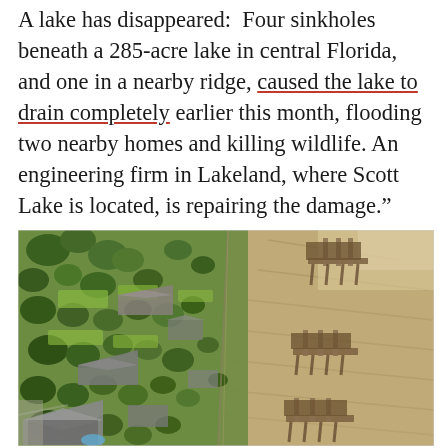A lake has disappeared: Four sinkholes beneath a 285-acre lake in central Florida, and one in a nearby ridge, caused the lake to drain completely earlier this month, flooding two nearby homes and killing wildlife. An engineering firm in Lakeland, where Scott Lake is located, is repairing the damage."
[Figure (photo): Aerial photograph showing a residential neighborhood with houses, green trees and lawns on the left side, and a drained lake bed with exposed dry, sandy/muddy ground and empty boat docks on the right side.]